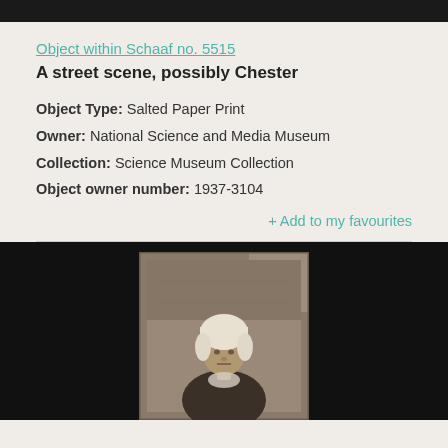Object within Schaaf no. 5515
A street scene, possibly Chester
Object Type: Salted Paper Print
Owner: National Science and Media Museum
Collection: Science Museum Collection
Object owner number: 1937-3104
+ Add to my favourites
[Figure (photo): Black background with a sepia-toned antique portrait photograph of an elderly woman wearing a white bonnet/cap, dark clothing, looking directly at the camera. The photo is mounted or framed and displayed against a dark background.]